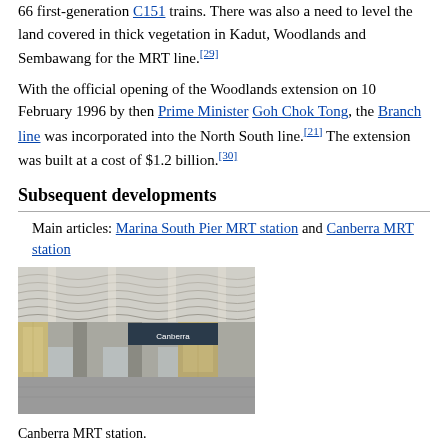66 first-generation C151 trains. There was also a need to level the land covered in thick vegetation in Kadut, Woodlands and Sembawang for the MRT line.[29]
With the official opening of the Woodlands extension on 10 February 1996 by then Prime Minister Goh Chok Tong, the Branch line was incorporated into the North South line.[21] The extension was built at a cost of $1.2 billion.[30]
Subsequent developments
Main articles: Marina South Pier MRT station and Canberra MRT station
[Figure (photo): Interior of Canberra MRT station showing the platform area with ceiling, support columns, and signage.]
Canberra MRT station.
The NSL platforms of the Bishan station underwent major alterations to increase the passenger capacity of the station from